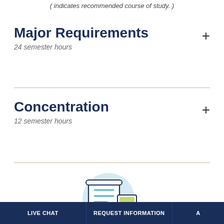( indicates recommended course of study. )
Major Requirements
24 semester hours
Concentration
12 semester hours
[Figure (illustration): Illustration of a diploma/certificate scroll and a calculator icon inside a light blue circle, rendered in a flat line-art style with navy and teal colors.]
LIVE CHAT | REQUEST INFORMATION | A...